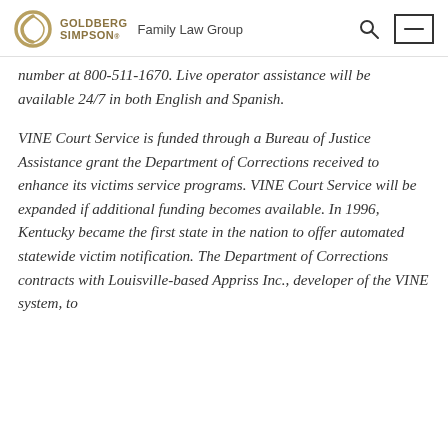Goldberg Simpson Family Law Group
number at 800-511-1670. Live operator assistance will be available 24/7 in both English and Spanish.
VINE Court Service is funded through a Bureau of Justice Assistance grant the Department of Corrections received to enhance its victims service programs. VINE Court Service will be expanded if additional funding becomes available. In 1996, Kentucky became the first state in the nation to offer automated statewide victim notification. The Department of Corrections contracts with Louisville-based Appriss Inc., developer of the VINE system, to